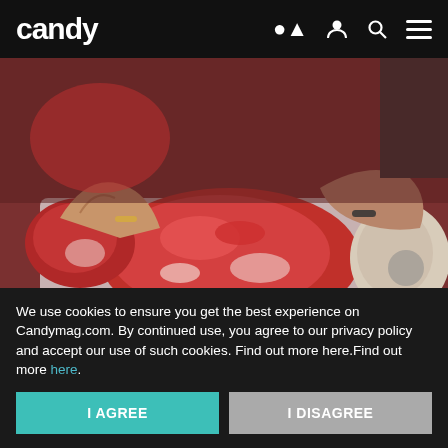candy
[Figure (photo): Hands holding a large raw cut of beef/meat at a butcher counter, with other cuts visible around it on a white surface.]
Here Are 7 Discounts Seniors Only Get If They Ask
We use cookies to ensure you get the best experience on Candymag.com. By continued use, you agree to our privacy policy and accept our use of such cookies. Find out more here.Find out more here.